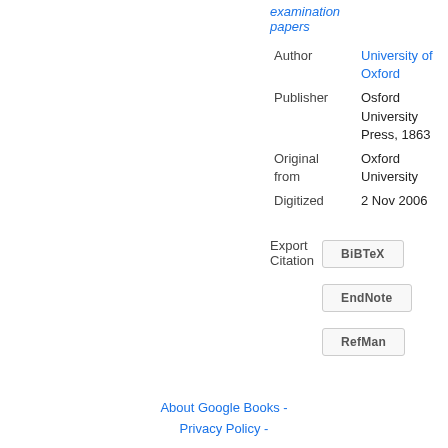examination papers
| Author | University of Oxford |
| Publisher | Osford University Press, 1863 |
| Original from | Oxford University |
| Digitized | 2 Nov 2006 |
Export Citation
BiBTeX
EndNote
RefMan
About Google Books - Privacy Policy -